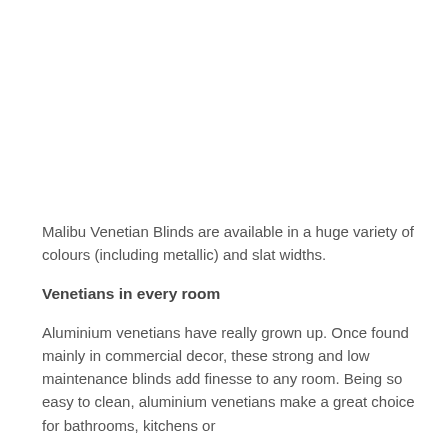Malibu Venetian Blinds are available in a huge variety of colours (including metallic) and slat widths.
Venetians in every room
Aluminium venetians have really grown up. Once found mainly in commercial decor, these strong and low maintenance blinds add finesse to any room. Being so easy to clean, aluminium venetians make a great choice for bathrooms, kitchens or